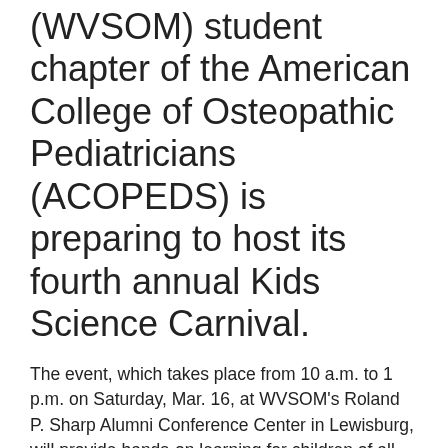(WVSOM) student chapter of the American College of Osteopathic Pediatricians (ACOPEDS) is preparing to host its fourth annual Kids Science Carnival.
The event, which takes place from 10 a.m. to 1 p.m. on Saturday, Mar. 16, at WVSOM's Roland P. Sharp Alumni Conference Center in Lewisburg, will provide hands-on learning for children of all ages. There is no cost to attend.
Kids will have an opportunity to view a model of a blood vessel constructed from water beads, ping pong balls and paper, and will find out how to make their own slime. Children will learn about cells using cookies, frosting and